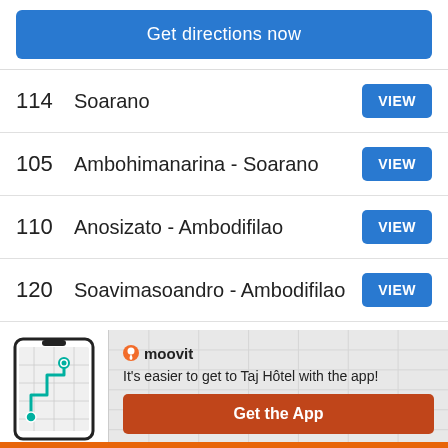Get directions now
114  Soarano  VIEW
105  Ambohimanarina - Soarano  VIEW
110  Anosizato - Ambodifilao  VIEW
120  Soavimasoandro - Ambodifilao  VIEW
126  CF : Manjaka - Anosy - 67ha  VIEW
[Figure (screenshot): Moovit app promotion banner with phone mockup showing route map, moovit logo, text 'It's easier to get to Taj Hôtel with the app!' and 'Get the App' button]